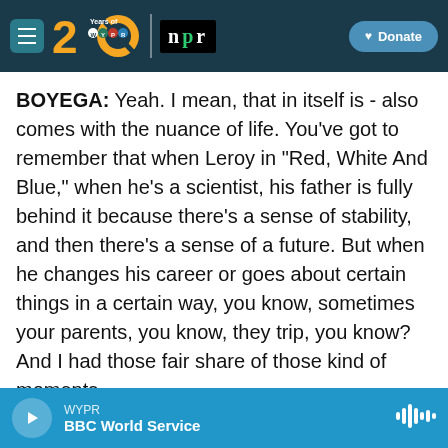[Figure (logo): WYPR 20 Years navigation bar with hamburger menu, WYPR 20th anniversary logo, NPR logo, and Donate button on dark teal background]
BOYEGA: Yeah. I mean, that in itself is - also comes with the nuance of life. You've got to remember that when Leroy in "Red, White And Blue," when he's a scientist, his father is fully behind it because there's a sense of stability, and then there's a sense of a future. But when he changes his career or goes about certain things in a certain way, you know, sometimes your parents, you know, they trip, you know? And I had those fair share of those kind of moments.
So despite my parents supporting me most of the time, you know, there are still those moments
WYPR  BBC World Service